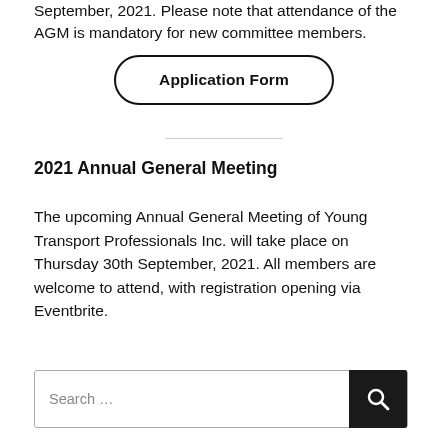September, 2021. Please note that attendance of the AGM is mandatory for new committee members.
[Figure (other): Application Form button with rounded rectangle border]
2021 Annual General Meeting
The upcoming Annual General Meeting of Young Transport Professionals Inc. will take place on Thursday 30th September, 2021. All members are welcome to attend, with registration opening via Eventbrite.
[Figure (other): Search bar with text input and dark search button with magnifying glass icon]